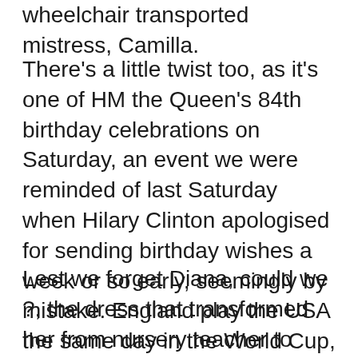wheelchair transported mistress, Camilla.
There’s a little twist too, as it's one of HM the Queen's 84th birthday celebrations on Saturday, an event we were reminded of last Saturday when Hilary Clinton apologised for sending birthday wishes a week or so early, seemingly by mistake. England play the USA the same day in the World Cup, perhaps her eyes were on that.
Lest we forget Diana, could we ?, the dress that transformed her from nursery teacher to future icon (see Cinderella) sold at auction on Tuesday for the princessley sum of £192,000, to be be media full of that...